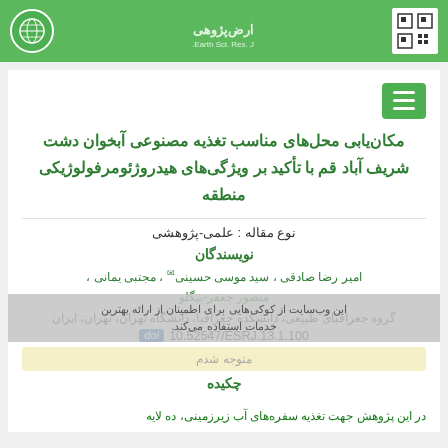Header with QR code, center logo/text, and globe icon on green background
[Figure (logo): Green header bar with QR code on right, stylized text logo in center, globe icon on left]
مکان‌یابی محل‌های مناسب تغذیه مصنوعی آبخوان دشت شریف آباد قم با تأکید بر ویژگی‌های هیدروژئومرفولوژیکی منطقه
نوع مقاله : علمی-پژوهشی
نویسندگان
امیر رضا صادقی ، سید موسی حسینی ✉ ، مجتبی یمانی ، منصور جعفر-بیگلو
گروه جغرافیای طبیعی، دانشکده جغرافیا، دانشگاه تهران، تهران، ایران
10.52547/ESRJ.13.1.100
متوجه شدم
چکیده
در این پژوهش جهت تغذیه سفره‌های آب زیرزمینی، ده لایه